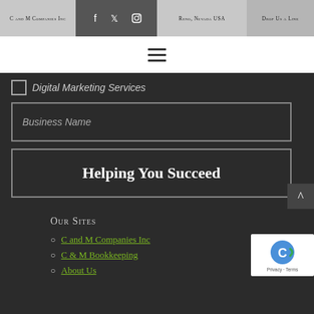C and M Companies Inc | Facebook | Twitter | Instagram | Reno, Nevada USA | Drop Us a Line
[Figure (other): Hamburger menu icon (three horizontal lines)]
Digital Marketing Services
Business Name
Helping You Succeed
Our Sites
C and M Companies Inc
C & M Bookkeeping
About Us